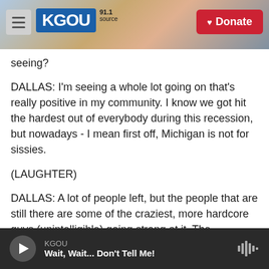KGOU — Public Radio header with hamburger menu and Donate button
seeing?
DALLAS: I'm seeing a whole lot going on that's really positive in my community. I know we got hit the hardest out of everybody during this recession, but nowadays - I mean first off, Michigan is not for sissies.
(LAUGHTER)
DALLAS: A lot of people left, but the people that are still there are some of the craziest, more hardcore guys (unintelligible) going strong at it. The
KGOU — Wait, Wait... Don't Tell Me!